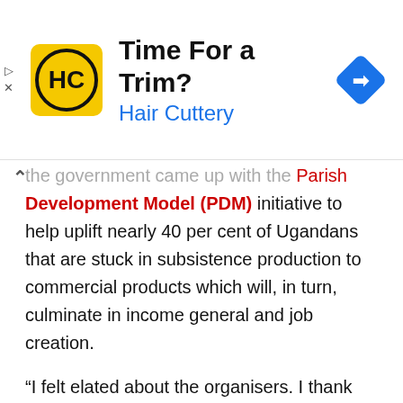[Figure (advertisement): Hair Cuttery advertisement banner with yellow logo, 'Time For a Trim?' title, blue 'Hair Cuttery' subtitle, and a blue navigation arrow diamond icon on the right.]
the government came up with the Parish Development Model (PDM) initiative to help uplift nearly 40 per cent of Ugandans that are stuck in subsistence production to commercial products which will, in turn, culminate in income general and job creation.
“I felt elated about the organisers. I thank God that people are waking up now. A certain wise person named a child Otafiire, meaning that if you do not die, you will see good things. I have seen a good thing today at this event.”